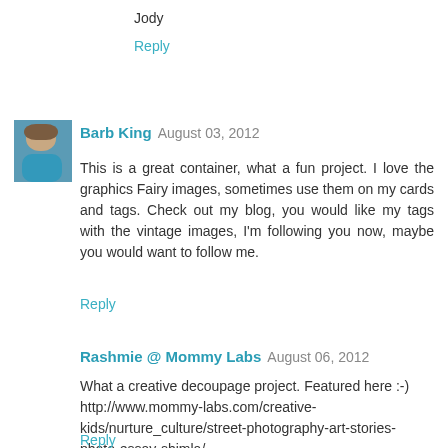Jody
Reply
Barb King  August 03, 2012
This is a great container, what a fun project. I love the graphics Fairy images, sometimes use them on my cards and tags. Check out my blog, you would like my tags with the vintage images, I'm following you now, maybe you would want to follow me.
Reply
Rashmie @ Mommy Labs  August 06, 2012
What a creative decoupage project. Featured here :-) http://www.mommy-labs.com/creative-kids/nurture_culture/street-photography-art-stories-photo-essay-shimla/
Reply